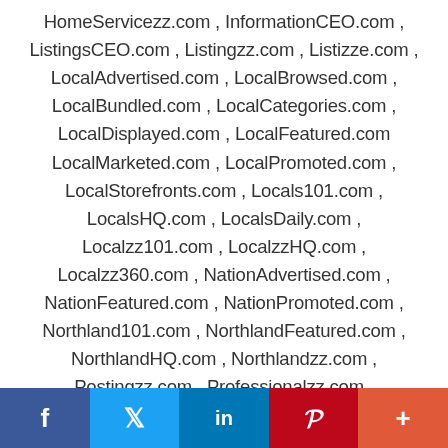HomeServicezz.com , InformationCEO.com , ListingsCEO.com , Listingzz.com , Listizze.com , LocalAdvertised.com , LocalBrowsed.com , LocalBundled.com , LocalCategories.com , LocalDisplayed.com , LocalFeatured.com LocalMarketed.com , LocalPromoted.com , LocalStorefronts.com , Locals101.com , LocalsHQ.com , LocalsDaily.com , Localzz101.com , LocalzzHQ.com , Localzz360.com , NationAdvertised.com , NationFeatured.com , NationPromoted.com , Northland101.com , NorthlandFeatured.com , NorthlandHQ.com , Northlandzz.com , Postingzz.com , Professionalzz.com , Productzz.com , Repairzz.com , SeeBusinesses.com , Spotlightzz.com
f  Twitter  in  P  +